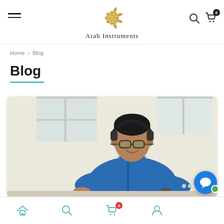Arab Instruments
Home > Blog
Blog
[Figure (photo): Young person wearing glasses and headphones, dressed in a denim shirt, sitting at a desk working on a computer. Background is light/white.]
Navigation bar with home, search, cart (0), account, and chat icons